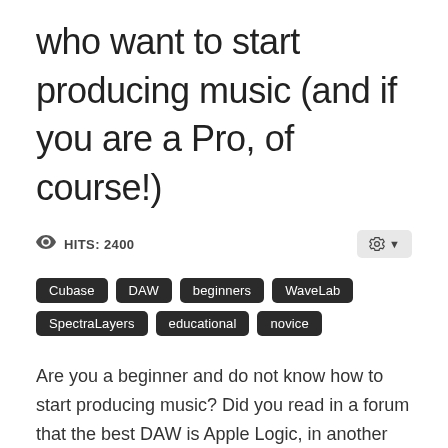who want to start producing music (and if you are a Pro, of course!)
HITS: 2400
Cubase
DAW
beginners
WaveLab
SpectraLayers
educational
novice
Are you a beginner and do not know how to start producing music? Did you read in a forum that the best DAW is Apple Logic, in another one that nothing